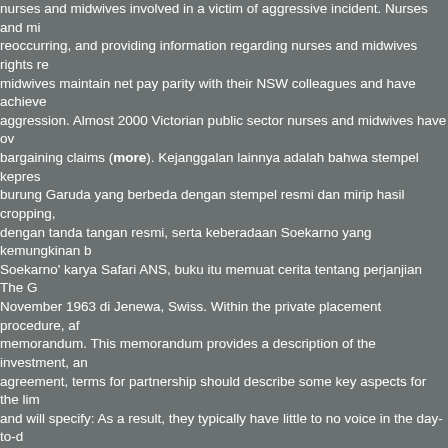nurses and midwives involved in a victim of aggressive incident. Nurses and midwives reoccurring, and providing information regarding nurses and midwives rights re midwives maintain net pay parity with their NSW colleagues and have achieve aggression. Almost 2000 Victorian public sector nurses and midwives have ov bargaining claims (more). Kejanggalan lainnya adalah bahwa stempel kepres burung Garuda yang berbeda dengan stempel resmi dan mirip hasil cropping, dengan tanda tangan resmi, serta keberadaan Soekarno yang kemungkinan b Soekarno' karya Safari ANS, buku itu memuat cerita tentang perjanjian The G November 1963 di Jenewa, Swiss. Within the private placement procedure, af memorandum. This memorandum provides a description of the investment, an agreement, terms for partnership should describe some key aspects for the lim and will specify: As a result, they typically have little to no voice in the day-to-d limited partner's exposure to business losses is limited to that partner's origina the investment experience, sophistication, and net worth of the potential limite own, you can download sample partnership agreement for free from our websi partnership agreement template. Here are certain steps that will help you form combines the limited liability of a corporation with the tax benefits of a partners friend has been with you, you must always form an agreement between the be you can expect from them, how much profit and loss they share and so on. At possible to the same condition as when they started living in it. The landlord o only be given if the tenant's employment has ended or either party has given n reimburse the landlord for costs of re-renting the unit like advertising or lost re possible agreement. Major focus of common market is economic convergenc example of common market. Economic union is another form of regional trade members of the trading bloc practice common policies on free movement of go common external trade policies. Caribbean single market economy (CSME)